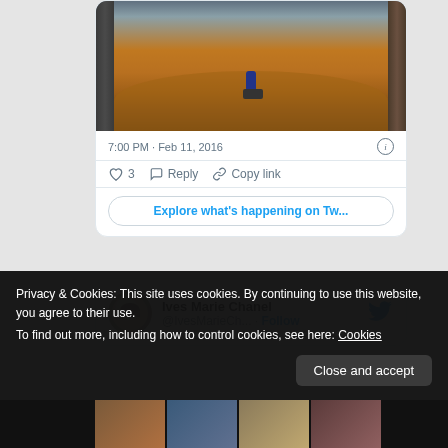[Figure (screenshot): Flood scene photograph showing muddy water-covered street with person on motorcycle, viewed from above. Part of a tweet card.]
7:00 PM · Feb 11, 2016
♡ 3   Reply   Copy link
Explore what's happening on Tw...
[Figure (screenshot): Twitter profile card showing user Ives Marie Chanel (@IvesMarieCh...) with avatar photo and Follow button and Twitter bird logo.]
Privacy & Cookies: This site uses cookies. By continuing to use this website, you agree to their use.
To find out more, including how to control cookies, see here: Cookies
Close and accept